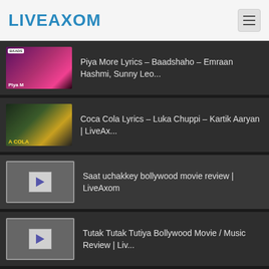LIVEAXOM
Piya More Lyrics – Baadshaho – Emraan Hashmi, Sunny Leo...
Coca Cola Lyrics – Luka Chuppi – Kartik Aaryan | LiveAx...
Saat uchakkey bollywood movie review | LiveAxom
Tutak Tutak Tutiya Bollywood Movie / Music Review | Liv...
Paani Paani Lyrics – Badshah – Jacqueline Fernandez – A...